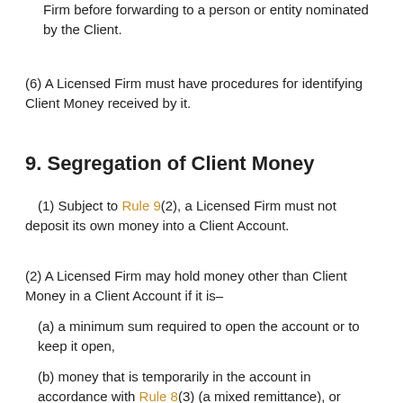Firm before forwarding to a person or entity nominated by the Client.
(6) A Licensed Firm must have procedures for identifying Client Money received by it.
9. Segregation of Client Money
(1) Subject to Rule 9(2), a Licensed Firm must not deposit its own money into a Client Account.
(2) A Licensed Firm may hold money other than Client Money in a Client Account if it is–
(a) a minimum sum required to open the account or to keep it open,
(b) money that is temporarily in the account in accordance with Rule 8(3) (a mixed remittance), or
(c) interest credited to the account that exceeds the amount payable to Clients as interest, which excess must be transferred from the Client Bank Account within ten (10) business days of